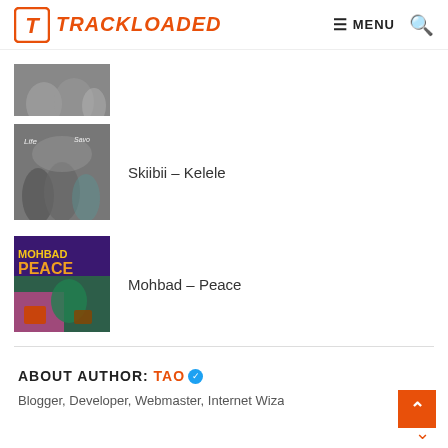[Figure (logo): Trackloaded website logo with orange T icon and TRACKLOADED text]
[Figure (photo): Partial album art thumbnail (black and white photo of women)]
[Figure (photo): Album art for Skiibii - Kelele (black and white photo of women with signature)]
Skiibii – Kelele
[Figure (illustration): Album art for Mohbad - Peace (colorful cartoon illustration)]
Mohbad – Peace
ABOUT AUTHOR: TAO
Blogger, Developer, Webmaster, Internet Wizard